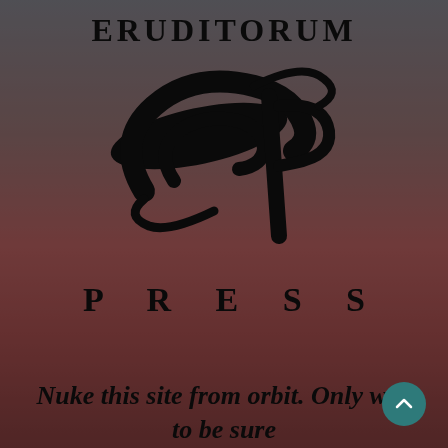[Figure (logo): Eruditorum Press logo with stylized EP calligraphic emblem, text ERUDITORUM at top, PRESS below in spaced serif lettering, on a dark reddish-brown background with faint classical painting figures]
Nuke this site from orbit. Only way to be sure